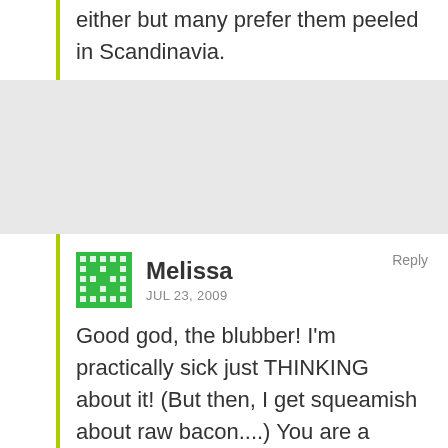either but many prefer them peeled in Scandinavia.
Melissa
JUL 23, 2009
Good god, the blubber! I'm practically sick just THINKING about it! (But then, I get squeamish about raw bacon....) You are a braver soul than many of us, apparently!
I wonder, if you thought of the fish as something else, like a nice, fish-flavored chip (chip?) would it be about...